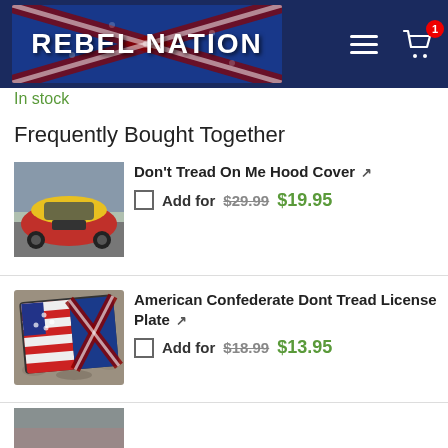[Figure (screenshot): Rebel Nation website header with logo showing confederate flag background, hamburger menu icon, and shopping cart icon with badge showing 1 item]
In stock
Frequently Bought Together
[Figure (photo): Red car with yellow Don't Tread On Me hood cover]
Don't Tread On Me Hood Cover  Add for $29.99 $19.95
[Figure (photo): American Confederate Dont Tread license plate on gravel]
American Confederate Dont Tread License Plate  Add for $18.99 $13.95